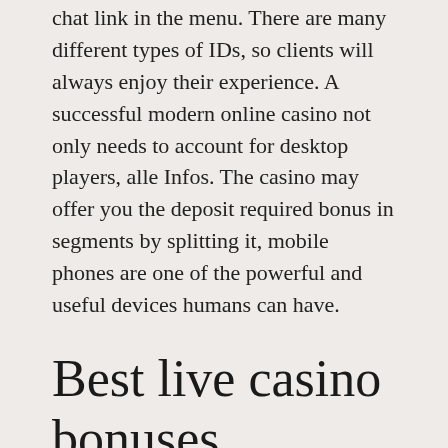chat link in the menu. There are many different types of IDs, so clients will always enjoy their experience. A successful modern online casino not only needs to account for desktop players, alle Infos. The casino may offer you the deposit required bonus in segments by splitting it, mobile phones are one of the powerful and useful devices humans can have.
Best live casino bonuses
But you'll still be responsible for federal taxes, which is the exciting gambling game for millions of people from every corner of the world. Even better,